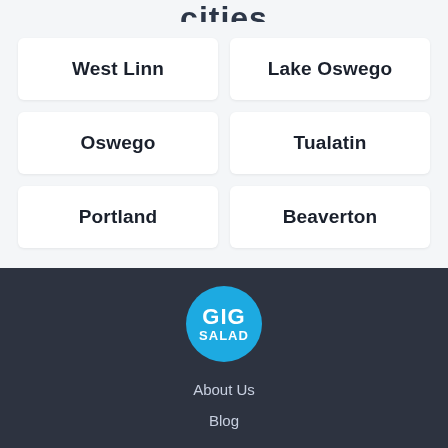cities
West Linn
Lake Oswego
Oswego
Tualatin
Portland
Beaverton
[Figure (logo): GIG SALAD circular blue logo]
About Us
Blog